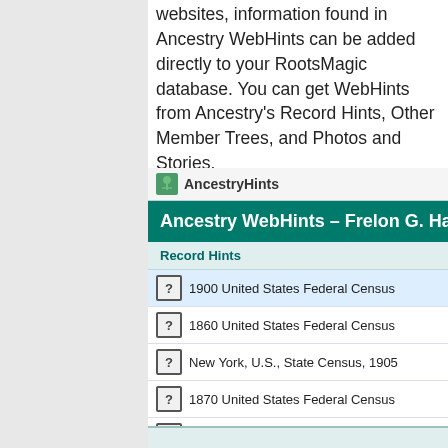websites, information found in Ancestry WebHints can be added directly to your RootsMagic database. You can get WebHints from Ancestry's Record Hints, Other Member Trees, and Photos and Stories.
[Figure (screenshot): Screenshot of AncestryHints window showing 'Ancestry WebHints - Frelon G. Ha...' with Record Hints section listing: 1900 United States Federal Census (highlighted), 1860 United States Federal Census, New York U.S. State Census 1905, 1870 United States Federal Census, U.S. Find a Grave Index 1600s-Current, New York U.S. Death Index 1852-1956, New York U.S. State Census 1865]